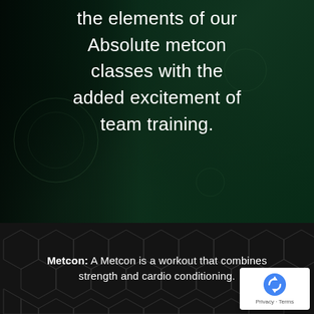the elements of our Absolute metcon classes with the added excitement of team training.
[Figure (illustration): Dark green background with shadowy figure silhouette on the left side, creating a moody fitness/gym atmosphere]
Metcon: A Metcon is a workout that combines strength and cardio conditioning.
[Figure (logo): Google reCAPTCHA badge with blue reCAPTCHA icon and Privacy - Terms text]